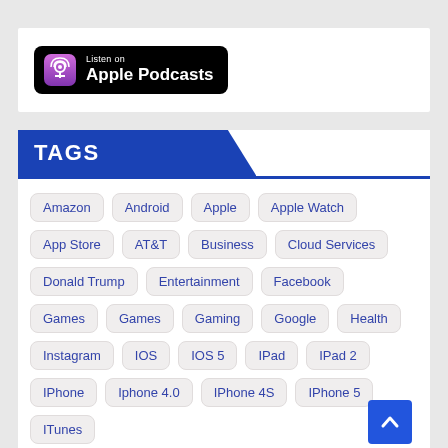[Figure (logo): Listen on Apple Podcasts badge — black rounded rectangle with purple podcast icon and white text]
TAGS
Amazon
Android
Apple
Apple Watch
App Store
AT&T
Business
Cloud Services
Donald Trump
Entertainment
Facebook
Games
Games
Gaming
Google
Health
Instagram
IOS
IOS 5
IPad
IPad 2
IPhone
Iphone 4.0
IPhone 4S
IPhone 5
ITunes